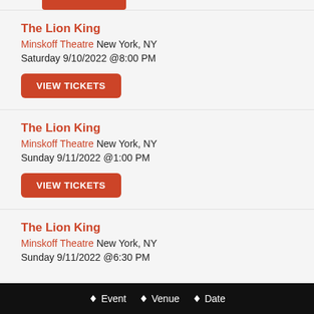The Lion King | Minskoff Theatre New York, NY | Saturday 9/10/2022 @8:00 PM | VIEW TICKETS
The Lion King | Minskoff Theatre New York, NY | Sunday 9/11/2022 @1:00 PM | VIEW TICKETS
The Lion King | Minskoff Theatre New York, NY | Sunday 9/11/2022 @6:30 PM
Event  Venue  Date